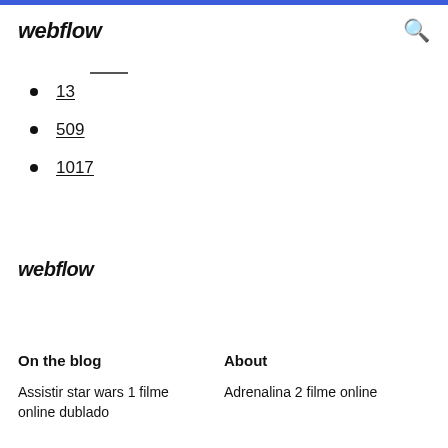webflow
13
509
1017
webflow
On the blog
About
Assistir star wars 1 filme online dublado
Adrenalina 2 filme online